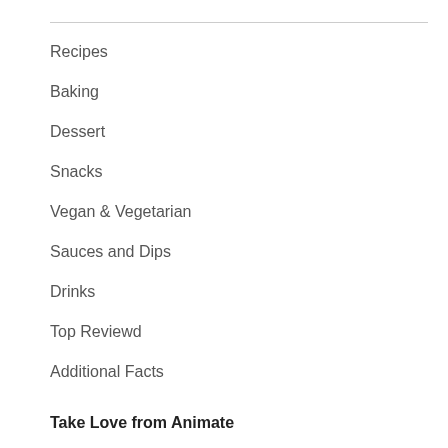Recipes
Baking
Dessert
Snacks
Vegan & Vegetarian
Sauces and Dips
Drinks
Top Reviewd
Additional Facts
Take Love from Animate